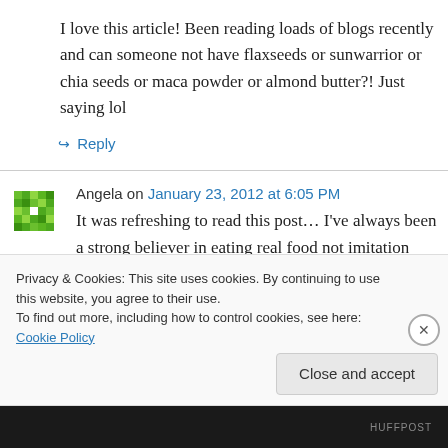I love this article! Been reading loads of blogs recently and can someone not have flaxseeds or sunwarrior or chia seeds or maca powder or almond butter?! Just saying lol
↪ Reply
Angela on January 23, 2012 at 6:05 PM
It was refreshing to read this post… I've always been a strong believer in eating real food not imitation food…
Privacy & Cookies: This site uses cookies. By continuing to use this website, you agree to their use.
To find out more, including how to control cookies, see here: Cookie Policy
Close and accept